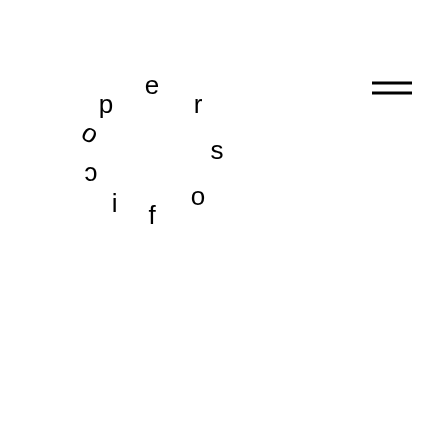[Figure (logo): Circular text logo reading 'persofico' with letters arranged in a circle, alternating upright and inverted orientations]
[Figure (other): Hamburger menu icon: two horizontal parallel lines stacked vertically]